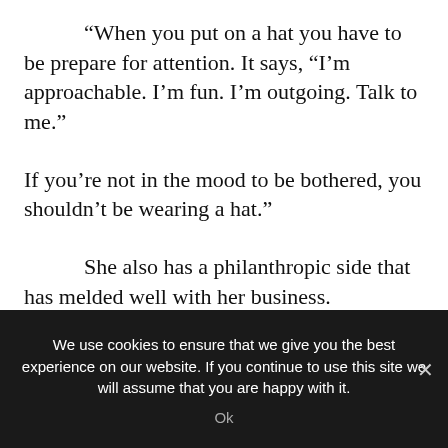“When you put on a hat you have to be prepare for attention. It says, “I’m approachable. I’m fun. I’m outgoing. Talk to me.”
If you’re not in the mood to be bothered, you shouldn’t be wearing a hat.”
She also has a philanthropic side that has melded well with her business. McMurrey, who has Crohn’s disease, recently organized the Urban
We use cookies to ensure that we give you the best experience on our website. If you continue to use this site we will assume that you are happy with it.